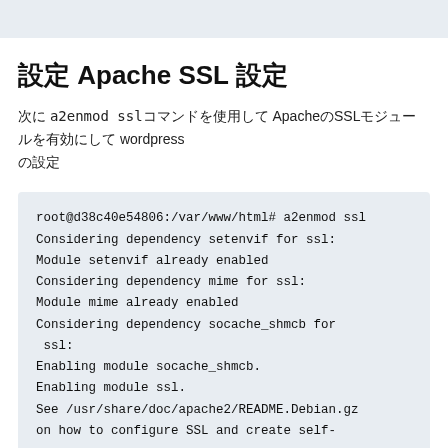設定 Apache SSL 設定
次に a2enmod ssl コマンドを使用して Apache の SSL モジュールを有効にして wordpress の設定
root@d38c40e54806:/var/www/html# a2enmod ssl
Considering dependency setenvif for ssl:
Module setenvif already enabled
Considering dependency mime for ssl:
Module mime already enabled
Considering dependency socache_shmcb for ssl:
Enabling module socache_shmcb.
Enabling module ssl.
See /usr/share/doc/apache2/README.Debian.gz
on how to configure SSL and create self-